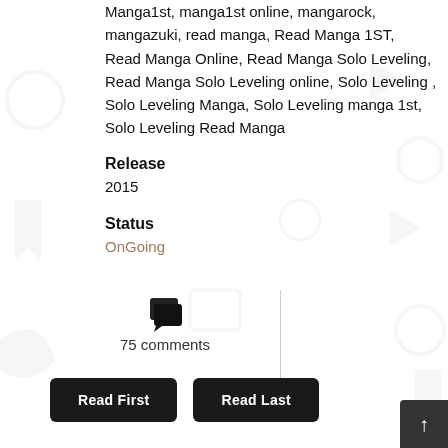Manga1st, manga1st online, mangarock, mangazuki, read manga, Read Manga 1ST, Read Manga Online, Read Manga Solo Leveling, Read Manga Solo Leveling online, Solo Leveling, Solo Leveling Manga, Solo Leveling manga 1st, Solo Leveling Read Manga
Release
2015
Status
OnGoing
[Figure (illustration): Speech bubble / comments icon (chat bubbles)]
75 comments
Read First
Read Last